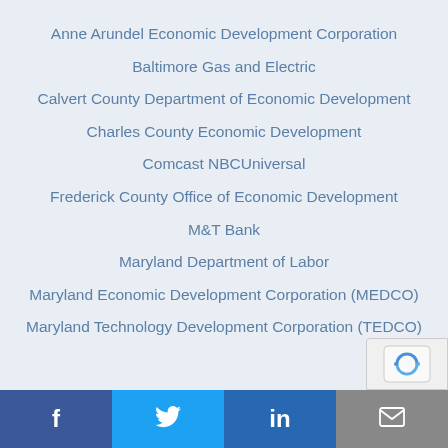Anne Arundel Economic Development Corporation
Baltimore Gas and Electric
Calvert County Department of Economic Development
Charles County Economic Development
Comcast NBCUniversal
Frederick County Office of Economic Development
M&T Bank
Maryland Department of Labor
Maryland Economic Development Corporation (MEDCO)
Maryland Technology Development Corporation (TEDCO)
Facebook | Twitter | LinkedIn | Email